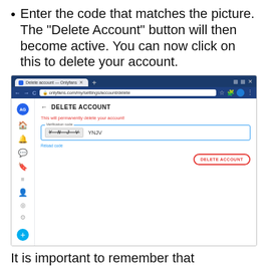Enter the code that matches the picture. The "Delete Account" button will then become active. You can now click on this to delete your account.
[Figure (screenshot): Screenshot of a browser showing the OnlyFans Delete Account page at onlyfans.com/my/settings/account/delete. The page shows a 'DELETE ACCOUNT' heading, a warning 'This will permanently delete your account!', a verification code input field showing captcha 'YNJV' with the code typed in, a 'Reload code' link, and a 'DELETE ACCOUNT' button with a red oval border.]
It is important to remember that